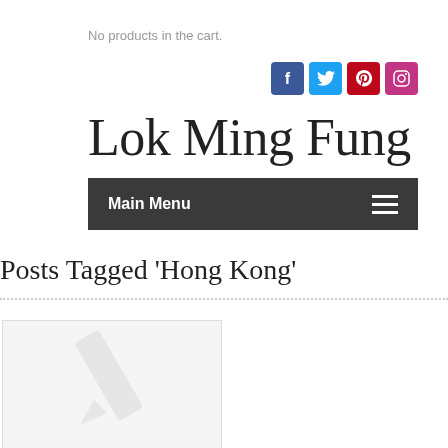No products in the cart.
[Figure (other): Social media icons: Facebook (blue), Twitter (blue), Pinterest (red), Instagram (pink/red)]
Lok Ming Fung
Main Menu
Posts Tagged 'Hong Kong'
[Figure (other): Thumbnail placeholder image with pencil/edit icon in light gray]